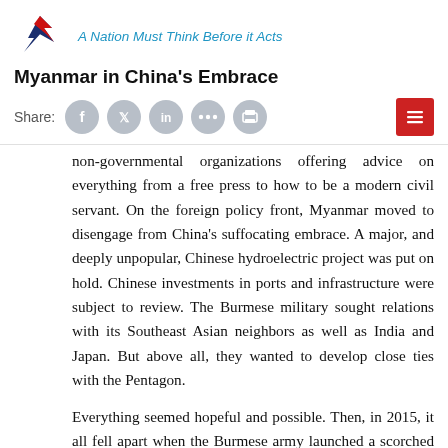A Nation Must Think Before it Acts
Myanmar in China's Embrace
Share:
non-governmental organizations offering advice on everything from a free press to how to be a modern civil servant. On the foreign policy front, Myanmar moved to disengage from China's suffocating embrace. A major, and deeply unpopular, Chinese hydroelectric project was put on hold. Chinese investments in ports and infrastructure were subject to review. The Burmese military sought relations with its Southeast Asian neighbors as well as India and Japan. But above all, they wanted to develop close ties with the Pentagon.

Everything seemed hopeful and possible. Then, in 2015, it all fell apart when the Burmese army launched a scorched earth assault on the Rohingya, a Muslim ethnic minority,